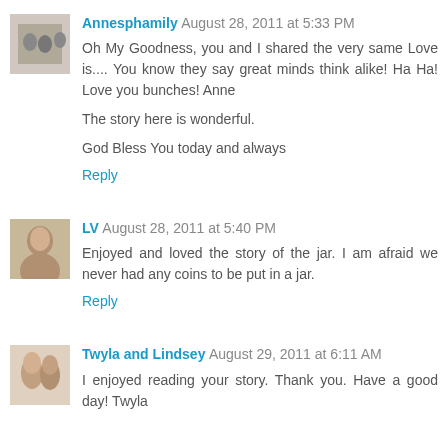Annesphamily  August 28, 2011 at 5:33 PM
Oh My Goodness, you and I shared the very same Love is.... You know they say great minds think alike! Ha Ha! Love you bunches! Anne

The story here is wonderful.

God Bless You today and always
Reply
LV  August 28, 2011 at 5:40 PM
Enjoyed and loved the story of the jar. I am afraid we never had any coins to be put in a jar.
Reply
Twyla and Lindsey  August 29, 2011 at 6:11 AM
I enjoyed reading your story. Thank you. Have a good day! Twyla